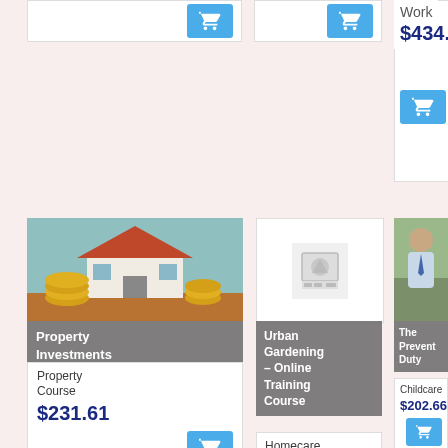[Figure (screenshot): Partial top-left product card with blue cart button visible]
[Figure (screenshot): Partial top-middle product card with blue cart button visible]
Work
$434.27
[Figure (screenshot): Blue cart button for Work course]
[Figure (photo): House with gold coins - Property Investments Diploma course image]
Property Investments Diploma
Property Course
$231.61
[Figure (screenshot): Blue cart button for Property Investments Diploma]
[Figure (screenshot): Placeholder image for Urban Gardening course]
Urban Gardening – Online Training Course
Homecare Course
$86.85
[Figure (screenshot): Blue cart button for Urban Gardening course]
[Figure (photo): Man in shirt and tie seated - The Prevent Duty course image]
The Prevent Duty
Childcare
$202.66
[Figure (screenshot): Blue cart button for The Prevent Duty course]